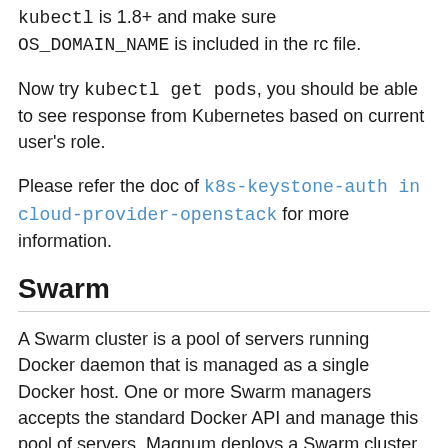kubectl is 1.8+ and make sure OS_DOMAIN_NAME is included in the rc file.
Now try kubectl get pods, you should be able to see response from Kubernetes based on current user's role.
Please refer the doc of k8s-keystone-auth in cloud-provider-openstack for more information.
Swarm
A Swarm cluster is a pool of servers running Docker daemon that is managed as a single Docker host. One or more Swarm managers accepts the standard Docker API and manage this pool of servers. Magnum deploys a Swarm cluster using parameters defined in the ClusterTemplate and